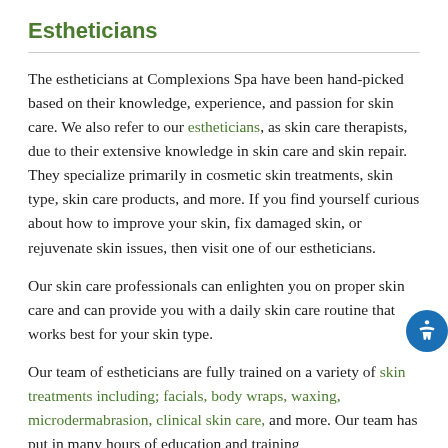Estheticians
The estheticians at Complexions Spa have been hand-picked based on their knowledge, experience, and passion for skin care. We also refer to our estheticians, as skin care therapists, due to their extensive knowledge in skin care and skin repair. They specialize primarily in cosmetic skin treatments, skin type, skin care products, and more. If you find yourself curious about how to improve your skin, fix damaged skin, or rejuvenate skin issues, then visit one of our estheticians.
Our skin care professionals can enlighten you on proper skin care and can provide you with a daily skin care routine that works best for your skin type.
Our team of estheticians are fully trained on a variety of skin treatments including; facials, body wraps, waxing, microdermabrasion, clinical skin care, and more. Our team has put in many hours of education and training